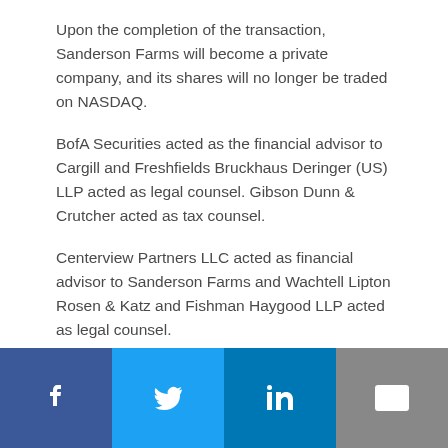Upon the completion of the transaction, Sanderson Farms will become a private company, and its shares will no longer be traded on NASDAQ.
BofA Securities acted as the financial advisor to Cargill and Freshfields Bruckhaus Deringer (US) LLP acted as legal counsel. Gibson Dunn & Crutcher acted as tax counsel.
Centerview Partners LLC acted as financial advisor to Sanderson Farms and Wachtell Lipton Rosen & Katz and Fishman Haygood LLP acted as legal counsel.
Lazard acted as the financial advisor for Wayne Farms and Continental Grain, and Paul, Weiss, Rifkind, Wharton & Garrison LLP acted as legal counsel.
[Figure (other): Social media sharing bar with Facebook, Twitter, LinkedIn, and email buttons]